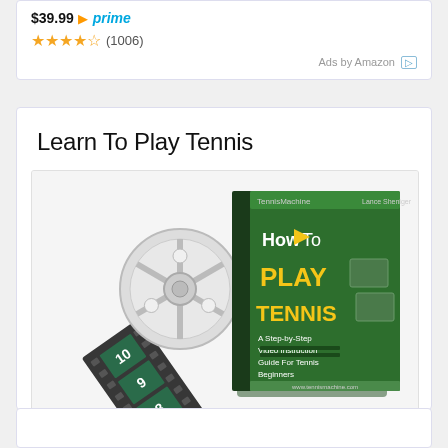$39.99 prime
★★★★½ (1006)
Ads by Amazon ▷
Learn To Play Tennis
[Figure (photo): Product image of 'How To Play Tennis' DVD/video course showing a film reel and a DVD case with text: TennisMachine, How To PLAY TENNIS, A Step-by-Step Video Instruction Guide For Tennis Beginners]